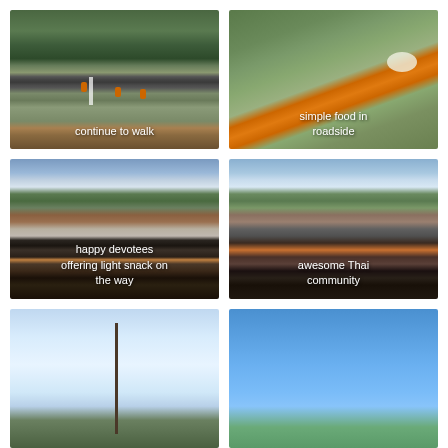[Figure (photo): Aerial view of monks in orange robes walking along a road with autumn trees and green grass]
continue to walk
[Figure (photo): Orange robes and simple food offerings arranged on green grass roadside]
simple food in roadside
[Figure (photo): Group of happy devotees posing on the roadside with trees in background]
happy devotees offering light snack on the way
[Figure (photo): Group photo of Thai community members posing together on roadside]
awesome Thai community
[Figure (photo): Tall tree against cloudy sky]
[Figure (photo): Blue sky with some green foliage at bottom]